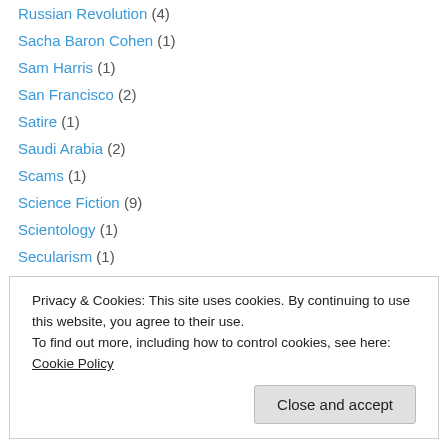Russian Revolution (4)
Sacha Baron Cohen (1)
Sam Harris (1)
San Francisco (2)
Satire (1)
Saudi Arabia (2)
Scams (1)
Science Fiction (9)
Scientology (1)
Secularism (1)
Shakespeare (1)
Shepard Fairey (4)
Shoah (2)
Privacy & Cookies: This site uses cookies. By continuing to use this website, you agree to their use. To find out more, including how to control cookies, see here: Cookie Policy
Spain (4)